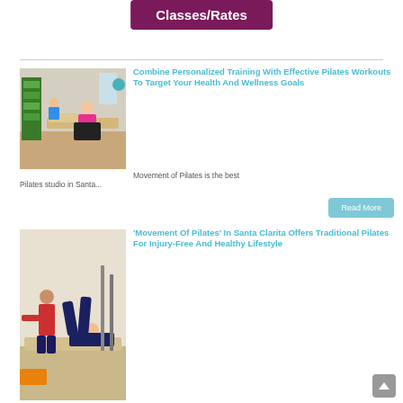Classes/Rates
[Figure (photo): Pilates studio with people on reformer machines]
Combine Personalized Training With Effective Pilates Workouts To Target Your Health And Wellness Goals
Movement of Pilates is the best Pilates studio in Santa...
Read More
[Figure (photo): Pilates instructor with client doing leg raises on reformer]
'Movement Of Pilates' In Santa Clarita Offers Traditional Pilates For Injury-Free And Healthy Lifestyle